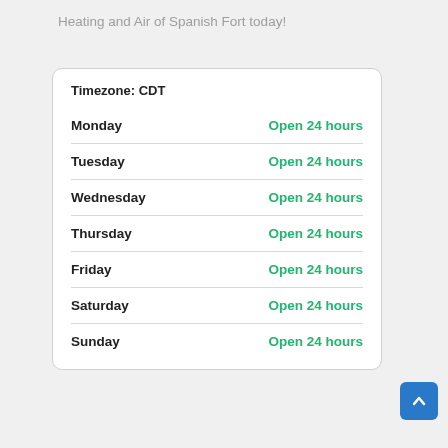Heating and Air of Spanish Fort today!
| Timezone: CDT |  |
| Monday | Open 24 hours |
| Tuesday | Open 24 hours |
| Wednesday | Open 24 hours |
| Thursday | Open 24 hours |
| Friday | Open 24 hours |
| Saturday | Open 24 hours |
| Sunday | Open 24 hours |